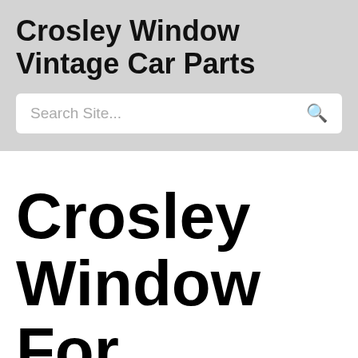Crosley Window Vintage Car Parts
[Figure (other): Search bar with placeholder text 'Search Site...' and a search icon]
Crosley Window For